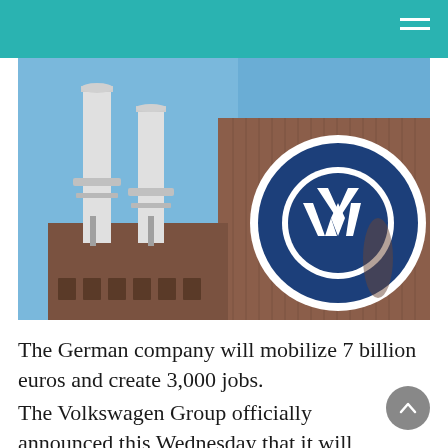[Figure (photo): A Volkswagen factory building with a large VW logo circle on the right side of the brick facade, and two tall white industrial chimneys/stacks on the left, against a blue sky.]
The German company will mobilize 7 billion euros and create 3,000 jobs.
The Volkswagen Group officially announced this Wednesday that it will build a gigafactory